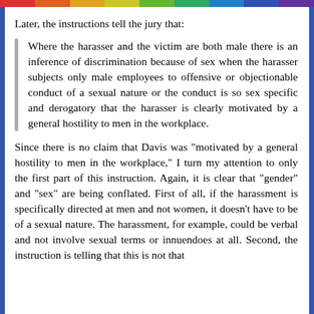Later, the instructions tell the jury that:
Where the harasser and the victim are both male there is an inference of discrimination because of sex when the harasser subjects only male employees to offensive or objectionable conduct of a sexual nature or the conduct is so sex specific and derogatory that the harasser is clearly motivated by a general hostility to men in the workplace.
Since there is no claim that Davis was "motivated by a general hostility to men in the workplace," I turn my attention to only the first part of this instruction. Again, it is clear that "gender" and "sex" are being conflated. First of all, if the harassment is specifically directed at men and not women, it doesn't have to be of a sexual nature. The harassment, for example, could be verbal and not involve sexual terms or innuendoes at all. Second, the instruction is telling that this is not that